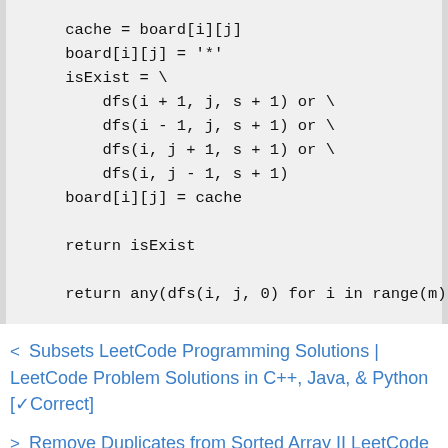cache = board[i][j]
board[i][j] = '*'
isExist = \
    dfs(i + 1, j, s + 1) or \
    dfs(i - 1, j, s + 1) or \
    dfs(i, j + 1, s + 1) or \
    dfs(i, j - 1, s + 1)
board[i][j] = cache

return isExist

return any(dfs(i, j, 0) for i in range(m) for
< Subsets LeetCode Programming Solutions | LeetCode Problem Solutions in C++, Java, & Python [✓Correct]
> Remove Duplicates from Sorted Array II LeetCode Programming Solutions | LeetCode